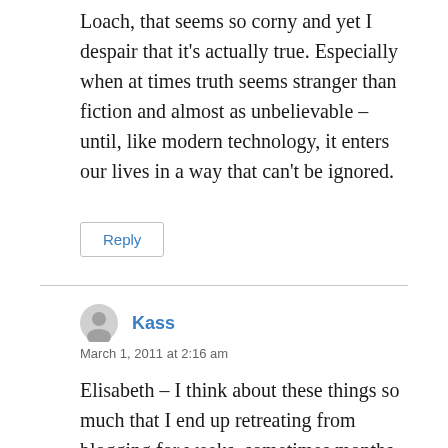Loach, that seems so corny and yet I despair that it's actually true. Especially when at times truth seems stranger than fiction and almost as unbelievable – until, like modern technology, it enters our lives in a way that can't be ignored.
Reply
Kass
March 1, 2011 at 2:16 am
Elisabeth – I think about these things so much that I end up retreating from blogging for weeks, sometimes months.